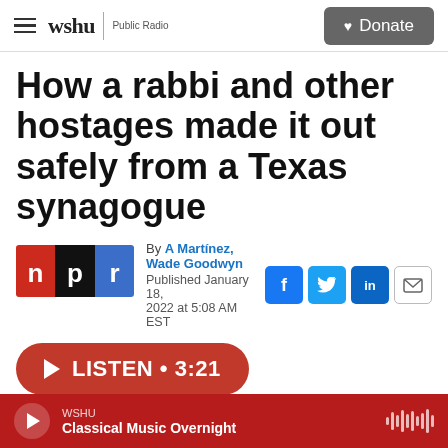wshu | Public Radio — Donate
How a rabbi and other hostages made it out safely from a Texas synagogue
By A Martínez, Wade Goodwyn
Published January 18, 2022 at 5:08 AM EST
[Figure (logo): NPR logo — n p r in red, black, and blue rectangles]
LISTEN • 3:21
WSHU — Classical Music Overnight